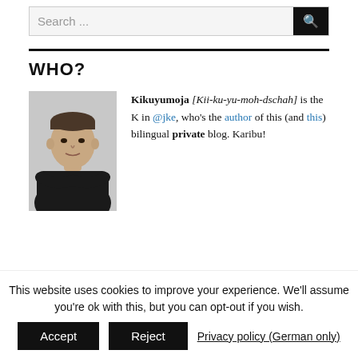Search ...
WHO?
[Figure (photo): Profile photo of a man with arms crossed wearing a black shirt, against a light background]
Kikuyumoja [Kii-ku-yu-moh-dschah] is the K in @jke, who's the author of this (and this) bilingual private blog. Karibu!
This website uses cookies to improve your experience. We'll assume you're ok with this, but you can opt-out if you wish.
Accept | Reject | Privacy policy (German only)